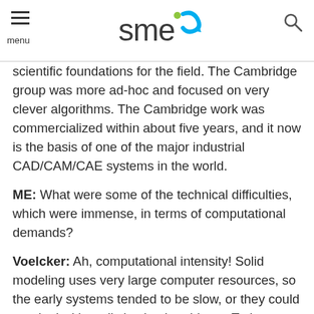SME logo, menu, search
scientific foundations for the field. The Cambridge group was more ad-hoc and focused on very clever algorithms. The Cambridge work was commercialized within about five years, and it now is the basis of one of the major industrial CAD/CAM/CAE systems in the world.
ME: What were some of the technical difficulties, which were immense, in terms of computational demands?
Voelcker: Ah, computational intensity! Solid modeling uses very large computer resources, so the early systems tended to be slow, or they could not deal with realistic-sized problems. Trying to cram a whole engine assembly into a solid modeler of the 1985 vintage was basically impossible.